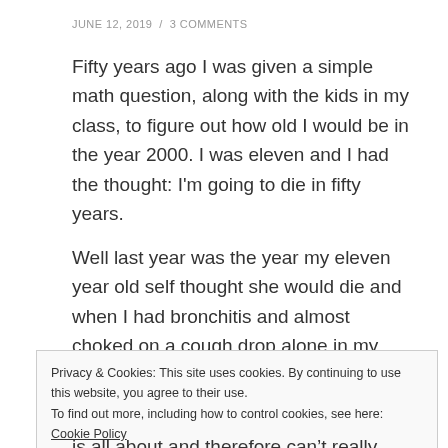JUNE 12, 2019 / 3 COMMENTS
Fifty years ago I was given a simple math question, along with the kids in my class, to figure out how old I would be in the year 2000. I was eleven and I had the thought: I'm going to die in fifty years.
Well last year was the year my eleven year old self thought she would die and when I had bronchitis and almost choked on a cough drop alone in my apartment and then most recently had a spontaneous hematoma, I thought, “This IS IT.”
Privacy & Cookies: This site uses cookies. By continuing to use this website, you agree to their use.
To find out more, including how to control cookies, see here: Cookie Policy
Close and accept
is all about and therefore can’t really know what being